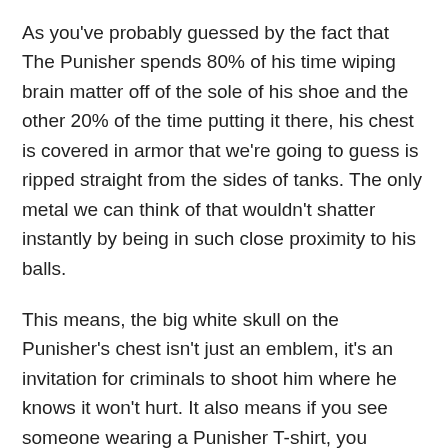As you've probably guessed by the fact that The Punisher spends 80% of his time wiping brain matter off of the sole of his shoe and the other 20% of the time putting it there, his chest is covered in armor that we're going to guess is ripped straight from the sides of tanks. The only metal we can think of that wouldn't shatter instantly by being in such close proximity to his balls.
This means, the big white skull on the Punisher's chest isn't just an emblem, it's an invitation for criminals to shoot him where he knows it won't hurt. It also means if you see someone wearing a Punisher T-shirt, you should probably punch them in the tit just to see if they're also wearing body armor like a true fan would.
Along with this, in early Punisher comics (and some of the later ones) each individual tooth of the skull has doubled up as a spare magazine for whichever gun the Punisher is currently